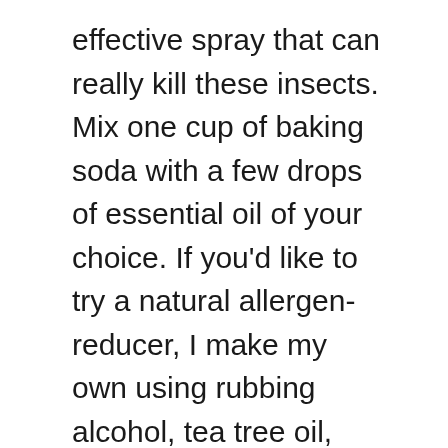effective spray that can really kill these insects. Mix one cup of baking soda with a few drops of essential oil of your choice. If you'd like to try a natural allergen-reducer, I make my own using rubbing alcohol, tea tree oil, and some lavender oil in a spray bottle. Work the vinegar solution into the carpet fibers with your fingers or a clean, lint-free cloth. Can dust mites live in your hair? They canât clearly be seen without the aid of a microscope. Tannic acid is a plant-derived substance that is used in food products, such as beer, soda, and juice. 8. Since the spray is non-toxic and natural, the directions state that the spray can be applied to mattresses, blankets, and pillows. Febreze FABRIC Spring &